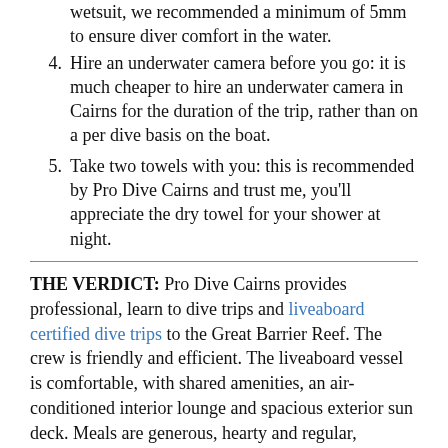wetsuit, we recommended a minimum of 5mm to ensure diver comfort in the water.
4. Hire an underwater camera before you go: it is much cheaper to hire an underwater camera in Cairns for the duration of the trip, rather than on a per dive basis on the boat.
5. Take two towels with you: this is recommended by Pro Dive Cairns and trust me, you'll appreciate the dry towel for your shower at night.
THE VERDICT: Pro Dive Cairns provides professional, learn to dive trips and liveaboard certified dive trips to the Great Barrier Reef. The crew is friendly and efficient. The liveaboard vessel is comfortable, with shared amenities, an air-conditioned interior lounge and spacious exterior sun deck. Meals are generous, hearty and regular, ensuring your internal tank is kept filled for the diving and swimming completed during the trip. Complimentary water bottles are provided and are a